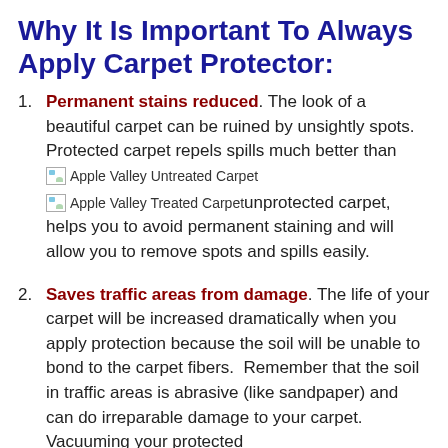Why It Is Important To Always Apply Carpet Protector:
Permanent stains reduced. The look of a beautiful carpet can be ruined by unsightly spots. Protected carpet repels spills much better than [Apple Valley Untreated Carpet image] [Apple Valley Treated Carpet image] unprotected carpet, helps you to avoid permanent staining and will allow you to remove spots and spills easily.
Saves traffic areas from damage. The life of your carpet will be increased dramatically when you apply protection because the soil will be unable to bond to the carpet fibers. Remember that the soil in traffic areas is abrasive (like sandpaper) and can do irreparable damage to your carpet. Vacuuming your protected